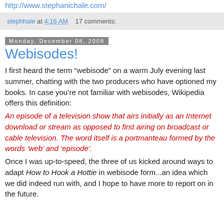http://www.stephanichale.com/
stephhale at 4:16 AM    17 comments:
Monday, December 08, 2008
Webisodes!
I first heard the term “webisode” on a warm July evening last summer, chatting with the two producers who have optioned my books. In case you’re not familiar with webisodes, Wikipedia offers this definition:
An episode of a television show that airs initially as an Internet download or stream as opposed to first airing on broadcast or cable television. The word itself is a portmanteau formed by the words ‘web’ and ‘episode’.
Once I was up-to-speed, the three of us kicked around ways to adapt How to Hook a Hottie in webisode form...an idea which we did indeed run with, and I hope to have more to report on in the future.